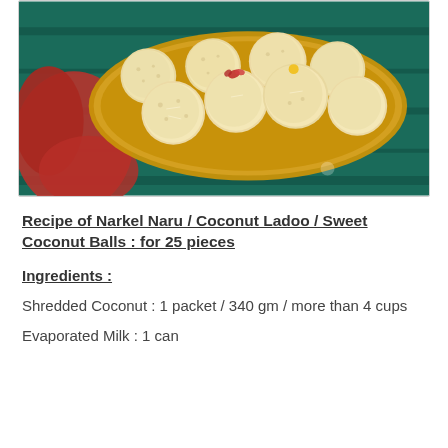[Figure (photo): A plate of golden-yellow coconut ladoo (sweet coconut balls) garnished with rose petals and other decorations, on a dark teal wooden surface with a red cloth in the background.]
Recipe of Narkel Naru / Coconut Ladoo / Sweet Coconut Balls : for 25 pieces
Ingredients :
Shredded Coconut : 1 packet / 340 gm / more than 4 cups
Evaporated Milk : 1 can